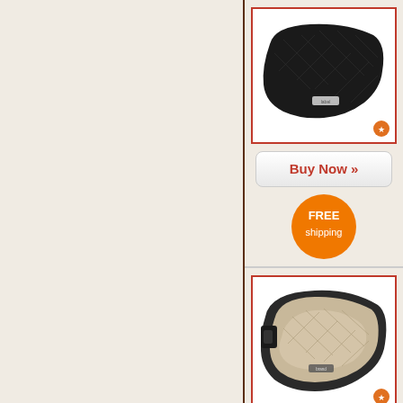[Figure (photo): Black quilted horse saddle pad with brand label, shown from above on white background with red border]
Buy Now »
[Figure (infographic): Orange circular badge with white text reading FREE shipping]
[Figure (photo): Tan/beige quilted horse saddle pad with black trim and brand label, shown on white background with red border]
Buy Now »
[Figure (infographic): Orange circular badge with white text reading FREE (partially visible)]